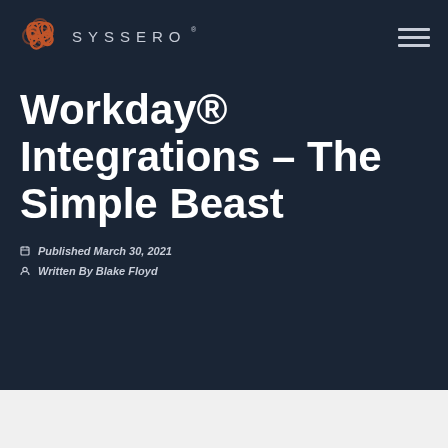SYSSERO
Workday® Integrations – The Simple Beast
Published March 30, 2021
Written By Blake Floyd